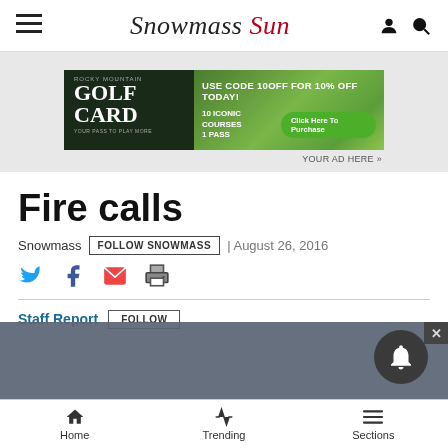Snowmass Sun
[Figure (other): Rocky Mountain Golf Card advertisement: USE CODE 10OFF FOR 10% OFF TODAY! 10 ICONIC COURSES 1 PASS. Click Here To Purchase.]
YOUR AD HERE »
Fire calls
Snowmass | FOLLOW SNOWMASS | August 26, 2016
Staff Report FOLLOW